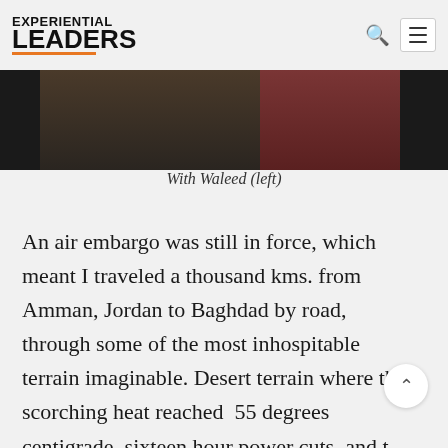EXPERIENTIAL LEADers
[Figure (photo): Partial view of people standing, bottom portion of a photograph showing figures in dark and red/maroon clothing]
With Waleed (left)
An air embargo was still in force, which meant I traveled a thousand kms. from Amman, Jordan to Baghdad by road, through some of the most inhospitable terrain imaginable. Desert terrain where the scorching heat reached 55 degrees centigrade, sixteen hour power cuts, and t being the only mode of communication with the outside world